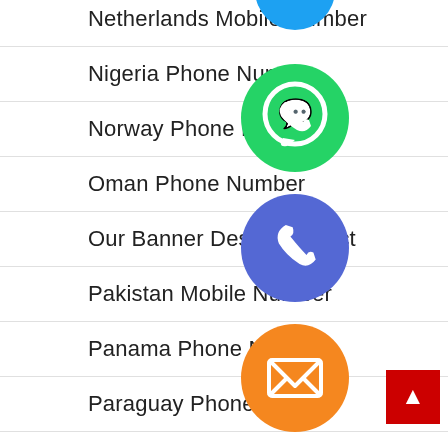Netherlands Mobile Number
Nigeria Phone Number
Norway Phone Number
Oman Phone Number
Our Banner Design Project
Pakistan Mobile Number
Panama Phone Number
Paraguay Phone Number
Philippines Photo Editor
[Figure (infographic): Floating social media / contact app icons: WhatsApp (green), phone/Viber (blue-purple), email (orange), LINE (green), Viber (purple), close/cancel (green). Plus a red back-to-top button.]